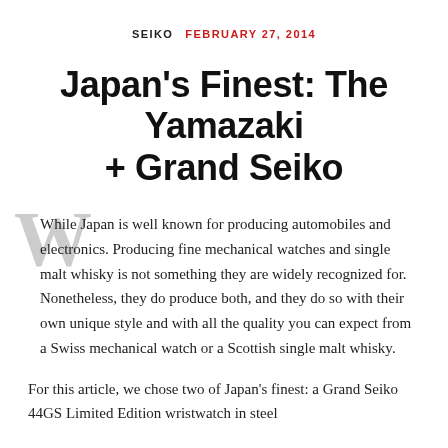SEIKO   FEBRUARY 27, 2014
Japan's Finest: The Yamazaki + Grand Seiko
While Japan is well known for producing automobiles and electronics. Producing fine mechanical watches and single malt whisky is not something they are widely recognized for. Nonetheless, they do produce both, and they do so with their own unique style and with all the quality you can expect from a Swiss mechanical watch or a Scottish single malt whisky.
For this article, we chose two of Japan's finest: a Grand Seiko 44GS Limited Edition wristwatch in steel